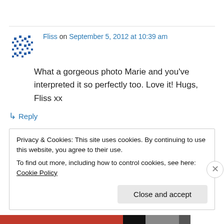Fliss on September 5, 2012 at 10:39 am
What a gorgeous photo Marie and you've interpreted it so perfectly too. Love it! Hugs, Fliss xx
↳ Reply
Privacy & Cookies: This site uses cookies. By continuing to use this website, you agree to their use.
To find out more, including how to control cookies, see here: Cookie Policy
Close and accept